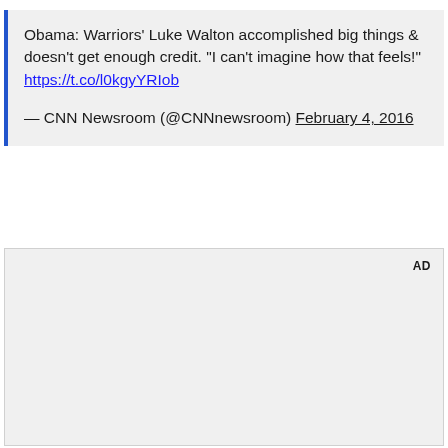Obama: Warriors' Luke Walton accomplished big things & doesn't get enough credit. "I can't imagine how that feels!" https://t.co/l0kgyYRIob

— CNN Newsroom (@CNNnewsroom) February 4, 2016
[Figure (other): Advertisement placeholder block with 'AD' label in top-right corner]